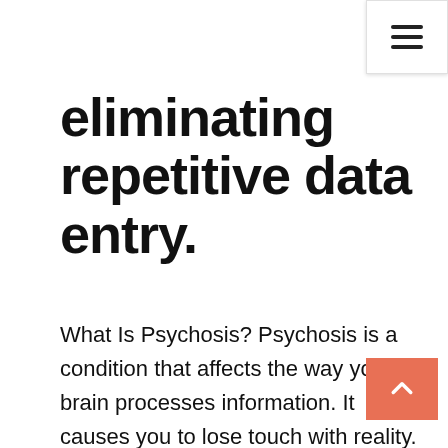☰
eliminating repetitive data entry.
What Is Psychosis? Psychosis is a condition that affects the way your brain processes information. It causes you to lose touch with reality. You might see, hear, or believe things that aren't Drugs.com provides accurate and independent information on more than 24,000 prescription drugs, over-the-counter medicines and natural products. This material is provided for educational purposes only and is not intended for medical advice, diagnosis or treatment. Data sources include IBM Watson Micromedex (updated 28 Feb 2020), Cerner Multum™ (updated 2 Mar 2020), Wolters Kluwer™ (updated How to Buy Seized Cars for Sale. Thousands of cars are seized by banks, the government, and law enforcement agencies every year. Many of these vehicles will be put up for auction. You can buy a seized car for almost 99 percent off its Searching for LOCTITE